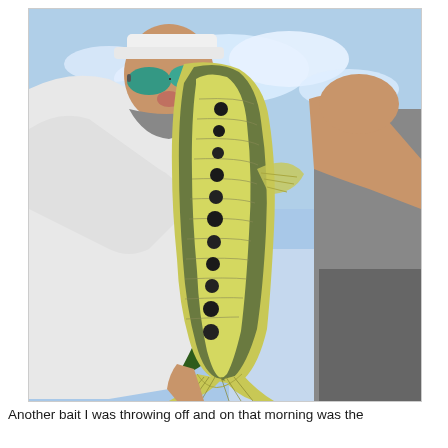[Figure (photo): A person wearing a white long-sleeve shirt, white visor hat, and reflective sunglasses holds up a large largemouth bass fish by its tail. The fish is shown belly-side toward the camera with visible dark lateral stripe markings. A second person in a gray sleeveless shirt is visible to the right. Background shows blue sky and green trees.]
Another bait I was throwing off and on that morning was the